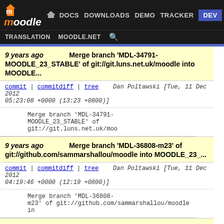moodle — DOCS DOWNLOADS DEMO TRACKER DEV — TRANSLATION MOODLE.NET
9 years ago   Merge branch 'MDL-34791-MOODLE_23_STABLE' of git://git.luns.net.uk/moodle into MOODLE...
commit | commitdiff | tree   Dan Poltawski [Tue, 11 Dec 2012 05:23:08 +0000 (13:23 +0800)]
Merge branch 'MDL-34791-MOODLE_23_STABLE' of git://git.luns.net.uk/moo
9 years ago   Merge branch 'MDL-36808-m23' of git://github.com/sammarshallou/moodle into MOODLE_23_...
commit | commitdiff | tree   Dan Poltawski [Tue, 11 Dec 2012 04:19:46 +0000 (12:19 +0800)]
Merge branch 'MDL-36808-m23' of git://github.com/sammarshallou/moodle in
9 years ago   MDL-36983 fix incorrect test method name
commit | commitdiff | tree   Petr Škoda [Thu, 6 Dec 2012 13:18:16 +0000 (14:18 +0100)]